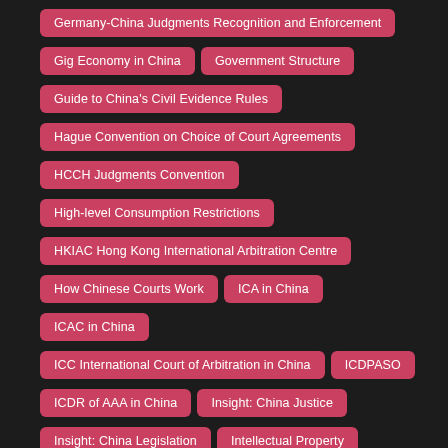Germany-China Judgments Recognition and Enforcement
Gig Economy in China
Government Structure
Guide to China's Civil Evidence Rules
Hague Convention on Choice of Court Agreements
HCCH Judgments Convention
High-level Consumption Restrictions
HKIAC Hong Kong International Arbitration Centre
How Chinese Courts Work
ICA in China
ICAC in China
ICC International Court of Arbitration in China
ICDPASO
ICDR of AAA in China
Insight: China Justice
Insight: China Legislation
Intellectual Property
Intellectual Property Court
Interesting Judgments of Chinese Courts